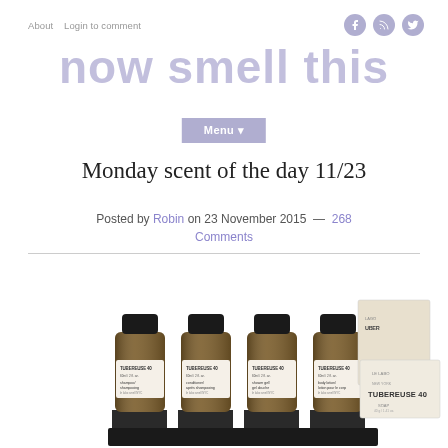About   Login to comment
now smell this
Menu ▾
Monday scent of the day 11/23
Posted by Robin on 23 November 2015 — 268 Comments
[Figure (photo): Four amber glass bottles of Tubereuse 40 travel-size products (shampoo, conditioner, shower gel, body lotion) with black caps arranged in a row alongside two cream-colored rectangular boxes labeled Tubereuse 40 by Le Labo.]